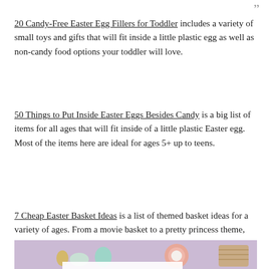20 Candy-Free Easter Egg Fillers for Toddler includes a variety of small toys and gifts that will fit inside a little plastic egg as well as non-candy food options your toddler will love.
50 Things to Put Inside Easter Eggs Besides Candy is a big list of items for all ages that will fit inside of a little plastic Easter egg. Most of the items here are ideal for ages 5+ up to teens.
7 Cheap Easter Basket Ideas is a list of themed basket ideas for a variety of ages. From a movie basket to a pretty princess theme, there's a little of something for everyone here.
[Figure (photo): Easter-themed flat lay photo with pastel colored items including eggs, small bowl, plate, and basket on a lavender background, partially visible with text overlay at bottom.]